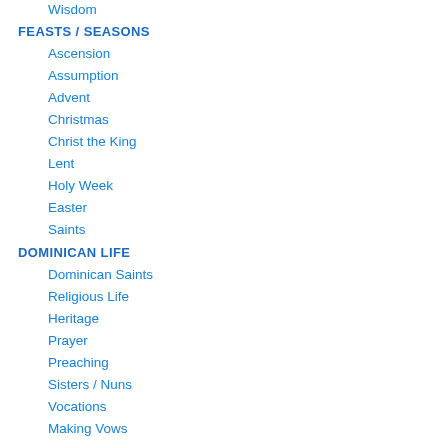Wisdom
FEASTS / SEASONS
Ascension
Assumption
Advent
Christmas
Christ the King
Lent
Holy Week
Easter
Saints
DOMINICAN LIFE
Dominican Saints
Religious Life
Heritage
Prayer
Preaching
Sisters / Nuns
Vocations
Making Vows